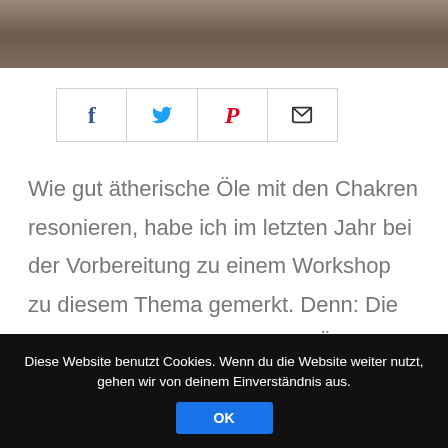[Figure (photo): Dark brownish textured background image at the top of the page]
[Figure (infographic): Social share buttons bar with Facebook (blue f), Twitter (blue bird), Pinterest (red P), and email (envelope) icons in bordered boxes]
Wie gut ätherische Öle mit den Chakren resonieren, habe ich im letzten Jahr bei der Vorbereitung zu einem Workshop zu diesem Thema gemerkt. Denn: Die energetischen Qualitäten der Öle finden ihre direkte Entsprechung in der energetischen Qualität der
Diese Website benutzt Cookies. Wenn du die Website weiter nutzt, gehen wir von deinem Einverständnis aus. OK